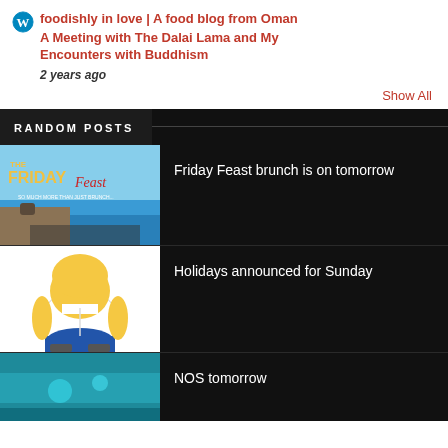foodishly in love | A food blog from Oman
A Meeting with The Dalai Lama and My Encounters with Buddhism
2 years ago
Show All
RANDOM POSTS
[Figure (photo): The Friday Feast brunch promotional image with text 'THE FRIDAY Feast SO MUCH MORE THAN JUST BRUNCH' over a beach/ocean background with people]
Friday Feast brunch is on tomorrow
[Figure (illustration): Homer Simpson character illustration, cartoon figure from behind showing yellow character in white shirt and blue pants]
Holidays announced for Sunday
[Figure (photo): Partial image at bottom, teal/blue tones]
NOS tomorrow